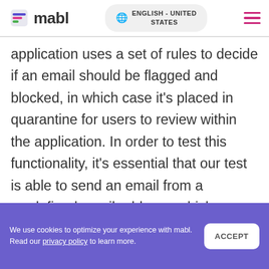mabl | ENGLISH - UNITED STATES
application uses a set of rules to decide if an email should be flagged and blocked, in which case it's placed in quarantine for users to review within the application. In order to test this functionality, it's essential that our test is able to send an email from a predefined email address, which we can then flag within the application to block and verify its status as quarantined
We use cookies to optimize your experience with mabl. Read our privacy policy to learn more.
ACCEPT